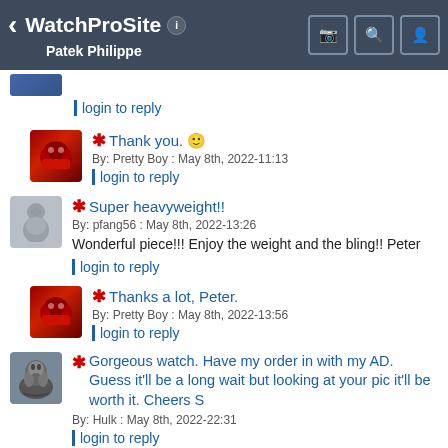WatchProSite  Patek Philippe
login to reply
* Thank you. 🙂
By: Pretty Boy : May 8th, 2022-11:13
login to reply
* Super heavyweight!!
By: pfang56 : May 8th, 2022-13:26
Wonderful piece!!! Enjoy the weight and the bling!! Peter
login to reply
* Thanks a lot, Peter.
By: Pretty Boy : May 8th, 2022-13:56
login to reply
* Gorgeous watch. Have my order in with my AD. Guess it'll be a long wait but looking at your pic it'll be worth it. Cheers S
By: Hulk : May 8th, 2022-22:31
login to reply